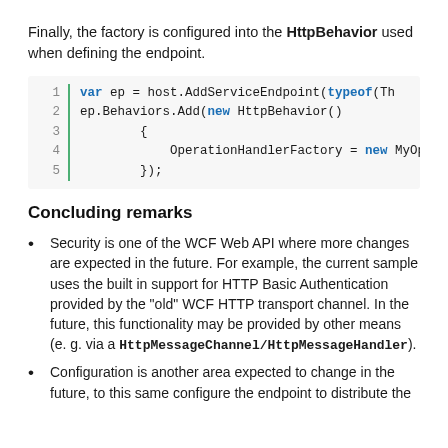Finally, the factory is configured into the HttpBehavior used when defining the endpoint.
[Figure (screenshot): Code block with 5 lines showing C# code: var ep = host.AddServiceEndpoint(typeof(Th ep.Behaviors.Add(new HttpBehavior() { OperationHandlerFactory = new MyOp });]
Concluding remarks
Security is one of the WCF Web API where more changes are expected in the future. For example, the current sample uses the built in support for HTTP Basic Authentication provided by the “old” WCF HTTP transport channel. In the future, this functionality may be provided by other means (e. g. via a HttpMessageChannel/HttpMessageHandler).
Configuration is another area expected to change in the future, to this same configure the endpoint to distribute the